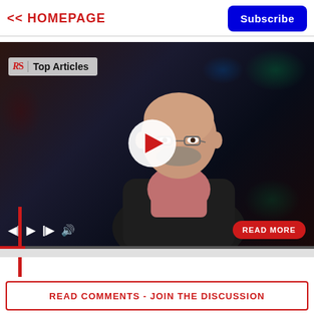<< HOMEPAGE
Subscribe
[Figure (screenshot): Video player showing a bald man with glasses and a beard wearing a pink shirt, with RS Top Articles badge overlay, play button, video controls, and a READ MORE button]
READ COMMENTS - JOIN THE DISCUSSION